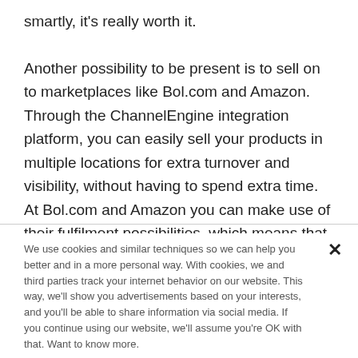smartly, it's really worth it.

Another possibility to be present is to sell on to marketplaces like Bol.com and Amazon. Through the ChannelEngine integration platform, you can easily sell your products in multiple locations for extra turnover and visibility, without having to spend extra time. At Bol.com and Amazon you can make use of their fulfilment possibilities, which means that you put your
We use cookies and similar techniques so we can help you better and in a more personal way. With cookies, we and third parties track your internet behavior on our website. This way, we'll show you advertisements based on your interests, and you'll be able to share information via social media. If you continue using our website, we'll assume you're OK with that. Want to know more.
Read more